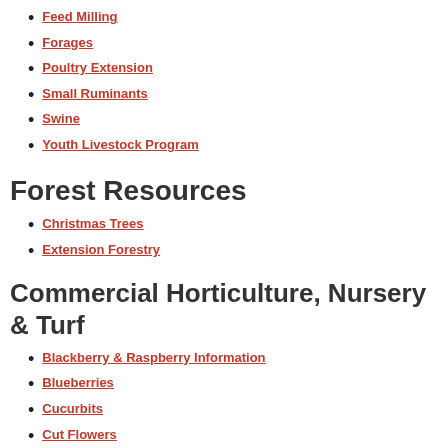Feed Milling
Forages
Poultry Extension
Small Ruminants
Swine
Youth Livestock Program
Forest Resources
Christmas Trees
Extension Forestry
Commercial Horticulture, Nursery & Turf
Blackberry & Raspberry Information
Blueberries
Cucurbits
Cut Flowers
Horticulture
Mountain Crop Improvement (MCI) Lab
Mountain Horticultural Crops Research and Extension Center
Muscadine and Vinifera Grapes